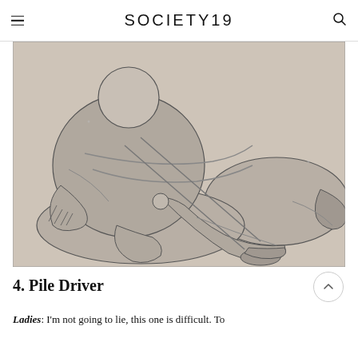SOCIETY19
[Figure (illustration): A line/halftone illustration showing two figures in a physical pose, rendered in black and grey on a beige/tan background.]
4. Pile Driver
Ladies: I'm not going to lie, this one is difficult. To